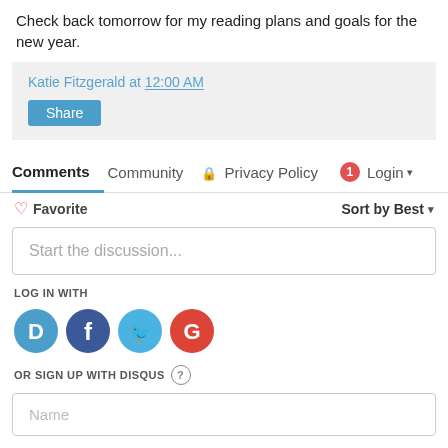Check back tomorrow for my reading plans and goals for the new year.
Katie Fitzgerald at 12:00 AM
Share
Comments  Community  Privacy Policy  Login
♡ Favorite    Sort by Best
Start the discussion...
LOG IN WITH
[Figure (logo): Social login icons: Disqus (blue), Facebook (dark blue), Twitter (light blue), Google (red)]
OR SIGN UP WITH DISQUS ?
Name